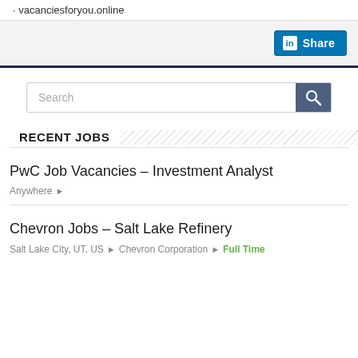vacanciesforyou.online
[Figure (other): LinkedIn Share button]
[Figure (other): Search input box with search button]
RECENT JOBS
PwC Job Vacancies – Investment Analyst
Anywhere ▸
Chevron Jobs – Salt Lake Refinery
Salt Lake City, UT, US ▸ Chevron Corporation ▸ Full Time